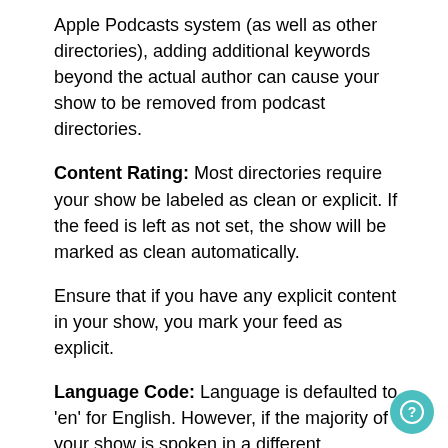Apple Podcasts system (as well as other directories), adding additional keywords beyond the actual author can cause your show to be removed from podcast directories.
Content Rating: Most directories require your show be labeled as clean or explicit. If the feed is left as not set, the show will be marked as clean automatically.
Ensure that if you have any explicit content in your show, you mark your feed as explicit.
Language Code: Language is defaulted to 'en' for English. However, if the majority of your show is spoken in a different language, use this setting to specify the language used in the show.
Tags/Keywords: This is a legacy field that use to exist back in the old iTunes system. While it has been depreciated for some time, occasionally podcast directories will use this field as a place to put codes for verification purposes. For this